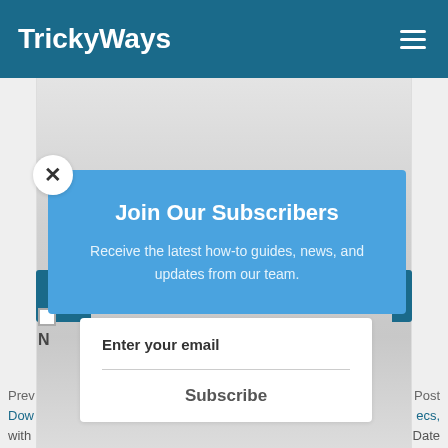TrickyWays
Join Our Subscribers
Receive the latest how-to guides, news, and updates from our team.
Enter your email
Subscribe
Prev
Dow
with
Post
ecs,
Date